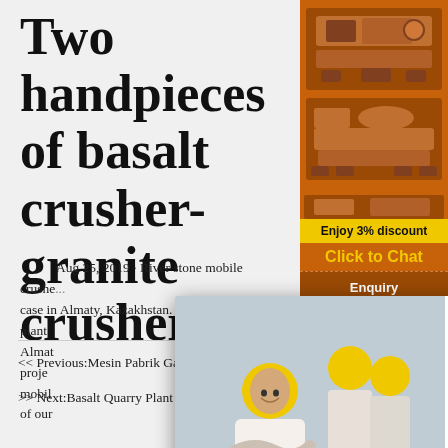Two handpieces of basalt crusher-granite crusher ...
Aug 25, 2019 · River stone mobile crusher case in Almaty, Kazakhstan. River stone mobile plant ... Almaty ... project ... mobile ... of our ...
[Figure (screenshot): Live chat popup overlay with workers photo, LIVE CHAT heading, Click for a Free Consultation text, Chat now and Chat later buttons]
[Figure (infographic): Right sidebar with orange background showing crusher machine images, Enjoy 3% discount yellow banner, Click to Chat in yellow text, Enquiry section, and limingjlmofen@sina.com contact]
<< Previous:Mesin Pabrik Gangue
>> Next:Basalt Quarry Plant Supplier